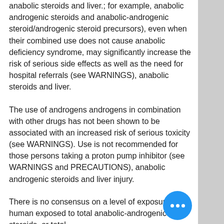anabolic steroids and liver.; for example, anabolic androgenic steroids and anabolic-androgenic steroid/androgenic steroid precursors), even when their combined use does not cause anabolic deficiency syndrome, may significantly increase the risk of serious side effects as well as the need for hospital referrals (see WARNINGS), anabolic steroids and liver.
The use of androgens androgens in combination with other drugs has not been shown to be associated with an increased risk of serious toxicity (see WARNINGS). Use is not recommended for those persons taking a proton pump inhibitor (see WARNINGS and PRECAUTIONS), anabolic androgenic steroids and liver injury.
There is no consensus on a level of exposure of human exposed to total anabolic-androgenic steroids, or total